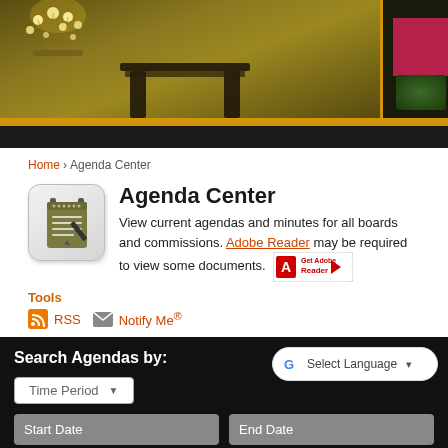[Figure (photo): Top banner photo showing chandelier lights, a dark chair silhouette against an olive/gold textured wall background, with a dark right panel with pink/red accent and green decorative element]
Home › Agenda Center
Agenda Center
View current agendas and minutes for all boards and commissions. Adobe Reader may be required to view some documents.
Tools
RSS  Notify Me®
Search Agendas by:
Time Period
Start Date  End Date